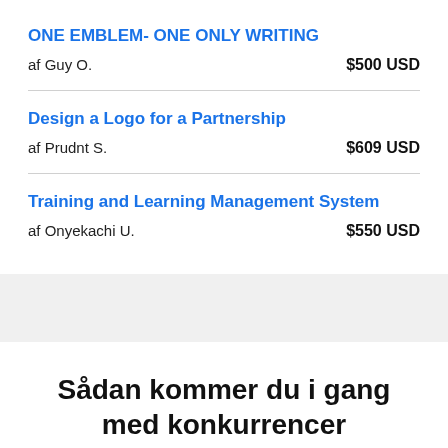ONE EMBLEM- ONE ONLY WRITING
af Guy O.   $500 USD
Design a Logo for a Partnership
af Prudnt S.   $609 USD
Training and Learning Management System
af Onyekachi U.   $550 USD
Sådan kommer du i gang med konkurrencer